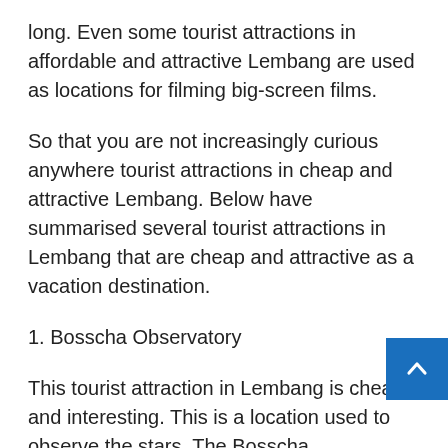long. Even some tourist attractions in affordable and attractive Lembang are used as locations for filming big-screen films.
So that you are not increasingly curious anywhere tourist attractions in cheap and attractive Lembang. Below have summarised several tourist attractions in Lembang that are cheap and attractive as a vacation destination.
1. Bosscha Observatory
This tourist attraction in Lembang is cheap and interesting. This is a location used to observe the stars. The Bosscha Observatory became the location used to carry out stars and can be said to be the oldest in Indonesia. In the past, Bosscha Observatory had an name, Bosscha Sterrenwacht. The Bosscha Observatory was built in 1923 by Nederland abolished...